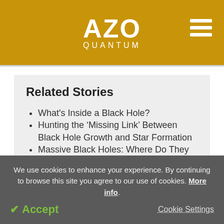AZO QUANTUM
Related Stories
What's Inside a Black Hole?
Hunting the ‘Missing Link’ Between Black Hole Growth and Star Formation
Massive Black Holes: Where Do They Come From?
We use cookies to enhance your experience. By continuing to browse this site you agree to our use of cookies. More info.
✔ Accept
Cookie Settings